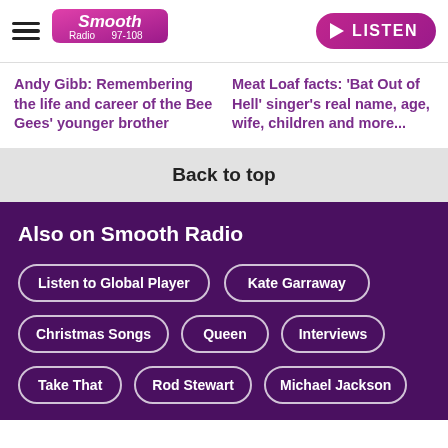[Figure (logo): Smooth Radio 97-108 logo with hamburger menu and LISTEN button]
Andy Gibb: Remembering the life and career of the Bee Gees' younger brother
Meat Loaf facts: 'Bat Out of Hell' singer's real name, age, wife, children and more...
Back to top
Also on Smooth Radio
Listen to Global Player
Kate Garraway
Christmas Songs
Queen
Interviews
Take That
Rod Stewart
Michael Jackson